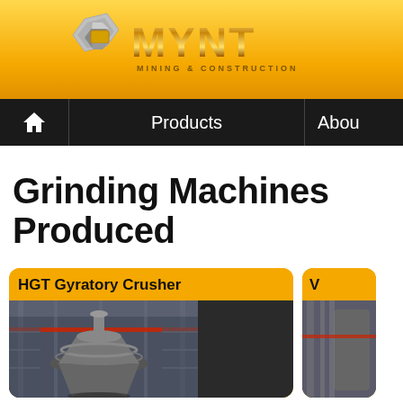[Figure (logo): MYNT Mining & Construction logo with metallic hexagon icon and gold metallic MYNT text on yellow/gold banner header]
Products    About
Grinding Machines Produced
[Figure (photo): HGT Gyratory Crusher product card with photo of a large industrial gyratory crusher in a facility]
[Figure (photo): Partial second product card visible on the right edge of the page]